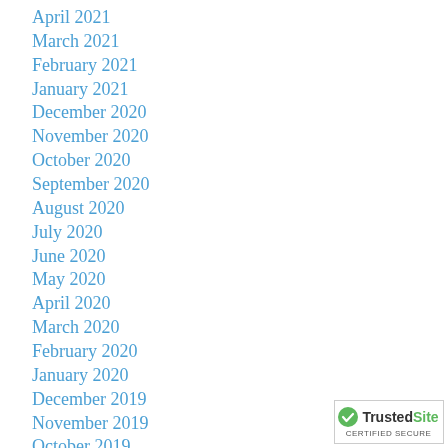April 2021
March 2021
February 2021
January 2021
December 2020
November 2020
October 2020
September 2020
August 2020
July 2020
June 2020
May 2020
April 2020
March 2020
February 2020
January 2020
December 2019
November 2019
October 2019
September 2019
August 2019
[Figure (logo): TrustedSite certified secure badge with green checkmark]